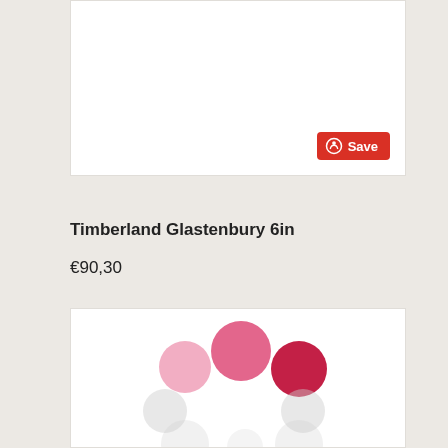[Figure (photo): Product image area with white background (top, partially visible)]
Save
Timberland Glastenbury 6in
€90,30
[Figure (other): Loading spinner or color swatch selector showing pink, dark pink/crimson, and light grey circles arranged in a pattern]